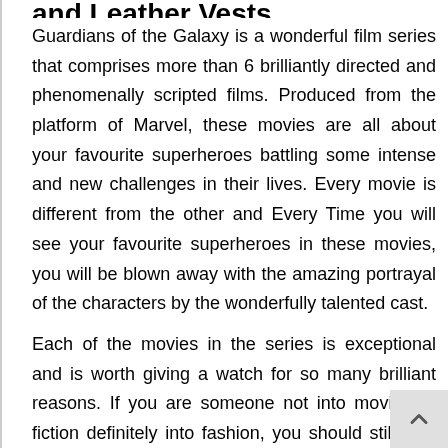and Leather Vests
Guardians of the Galaxy is a wonderful film series that comprises more than 6 brilliantly directed and phenomenally scripted films. Produced from the platform of Marvel, these movies are all about your favourite superheroes battling some intense and new challenges in their lives. Every movie is different from the other and Every Time you will see your favourite superheroes in these movies, you will be blown away with the amazing portrayal of the characters by the wonderfully talented cast.
Each of the movies in the series is exceptional and is worth giving a watch for so many brilliant reasons. If you are someone not into movies or fiction definitely into fashion, you should still give them a